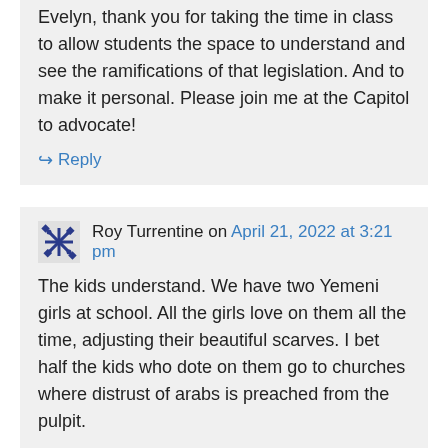Evelyn, thank you for taking the time in class to allow students the space to understand and see the ramifications of that legislation. And to make it personal. Please join me at the Capitol to advocate!
↪ Reply
Roy Turrentine on April 21, 2022 at 3:21 pm
The kids understand. We have two Yemeni girls at school. All the girls love on them all the time, adjusting their beautiful scarves. I bet half the kids who dote on them go to churches where distrust of arabs is preached from the pulpit.